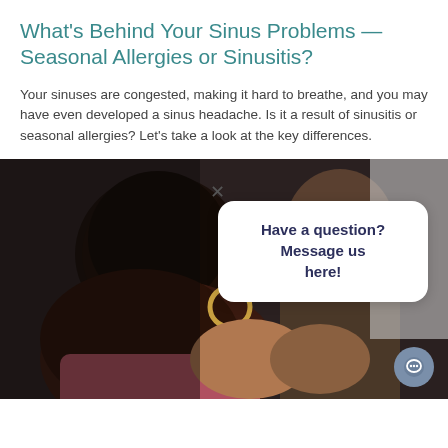What's Behind Your Sinus Problems — Seasonal Allergies or Sinusitis?
Your sinuses are congested, making it hard to breathe, and you may have even developed a sinus headache. Is it a result of sinusitis or seasonal allergies? Let's take a look at the key differences.
[Figure (photo): Two women facing each other in conversation; one has curly dark hair and hoop earrings, the other has straight dark hair. A chat bubble overlay reads 'Have a question? Message us here!' with an X close button and a circular chat icon in the bottom right.]